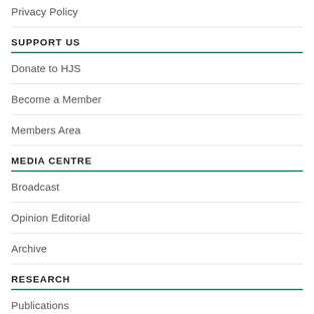Privacy Policy
SUPPORT US
Donate to HJS
Become a Member
Members Area
MEDIA CENTRE
Broadcast
Opinion Editorial
Archive
RESEARCH
Publications
RFE/RL Translations